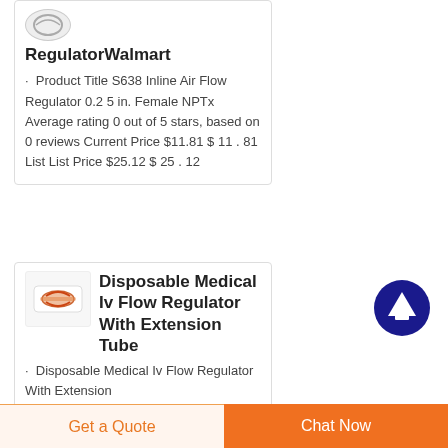RegulatorWalmart
Product Title S638 Inline Air Flow Regulator 0.2 5 in. Female NPTx Average rating 0 out of 5 stars, based on 0 reviews Current Price $11.81 $ 11 . 81 List List Price $25.12 $ 25 . 12
[Figure (logo): Small circular logo thumbnail at top left]
Disposable Medical Iv Flow Regulator With Extension Tube
Disposable Medical Iv Flow Regulator With Extension
[Figure (photo): Small product image showing red/orange medical IV flow regulator]
Get a Quote
Chat Now